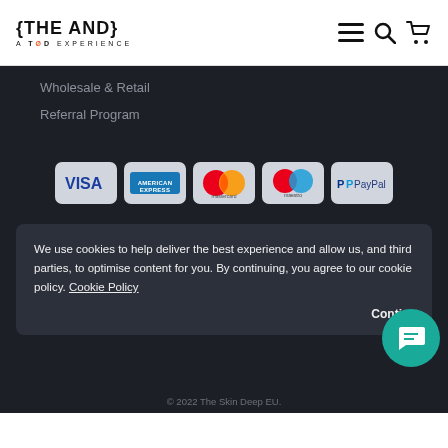{ THE AND } A TØD EXPERIENCE
Wholesale & Retail
Referral Program
[Figure (other): Payment method badges: VISA, American Express, Mastercard, Maestro, PayPal]
We use cookies to help deliver the best experience and allow us, and third parties, to optimise content for you. By continuing, you agree to our cookie policy. Cookie Policy
Conti...
© 2022 The Skin Deep EU.